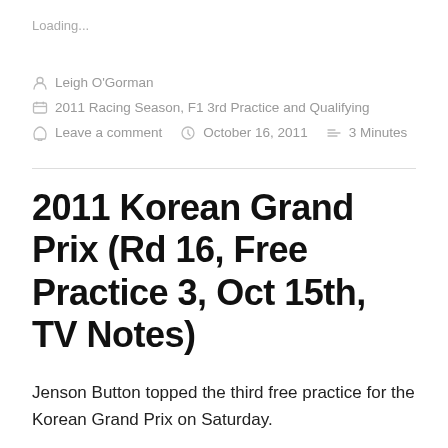Loading...
Leigh O'Gorman
2011 Racing Season, F1 3rd Practice and Qualifying
Leave a comment   October 16, 2011   3 Minutes
2011 Korean Grand Prix (Rd 16, Free Practice 3, Oct 15th, TV Notes)
Jenson Button topped the third free practice for the Korean Grand Prix on Saturday.